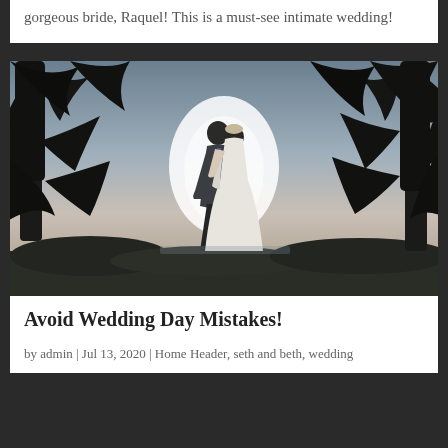gorgeous bride, Raquel! This is a must-see intimate wedding!
[Figure (photo): Wedding couple silhouetted against a twilight sky with trees on either side. The groom in a grey suit and bride in a white gown face each other closely, with a glowing backlight behind them.]
Avoid Wedding Day Mistakes!
by admin | Jul 13, 2020 | Home Header, seth and beth, wedding